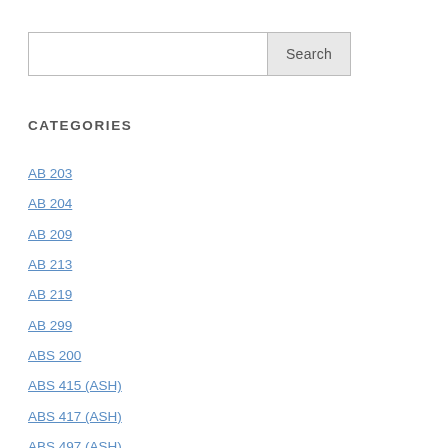[Figure (other): Search input box with a Search button]
CATEGORIES
AB 203
AB 204
AB 209
AB 213
AB 219
AB 299
ABS 200
ABS 415 (ASH)
ABS 417 (ASH)
ABS 497 (ASH)
AC 113
AC 114